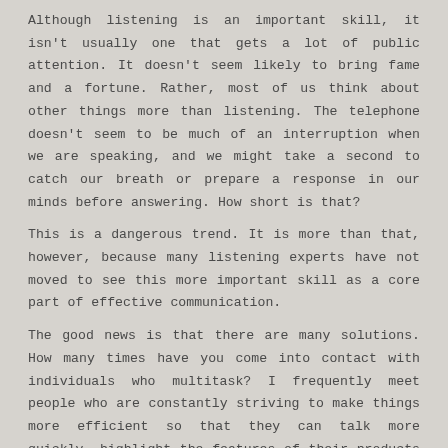Although listening is an important skill, it isn't usually one that gets a lot of public attention. It doesn't seem likely to bring fame and a fortune. Rather, most of us think about other things more than listening. The telephone doesn't seem to be much of an interruption when we are speaking, and we might take a second to catch our breath or prepare a response in our minds before answering. How short is that?
This is a dangerous trend. It is more than that, however, because many listening experts have not moved to see this more important skill as a core part of effective communication.
The good news is that there are many solutions. How many times have you come into contact with individuals who multitask? I frequently meet people who are constantly striving to make things more efficient so that they can talk more quickly, highlight the features of their products or services, or detect the trends in the marketplace. ดูหนังฟรี Many of these people are just not effective listeners.